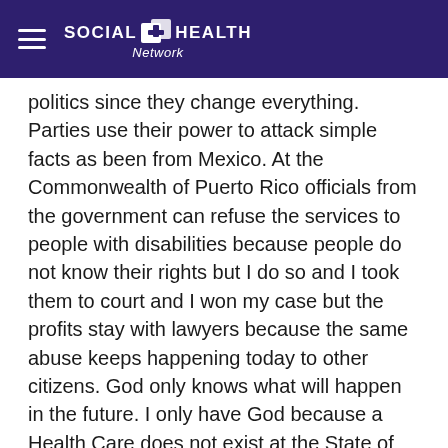SOCIAL HEALTH Network
politics since they change everything. Parties use their power to attack simple facts as been from Mexico. At the Commonwealth of Puerto Rico officials from the government can refuse the services to people with disabilities because people do not know their rights but I do so and I took them to court and I won my case but the profits stay with lawyers because the same abuse keeps happening today to other citizens. God only knows what will happen in the future. I only have God because a Health Care does not exist at the State of Florida for MS Patients.
I know you remember that when I was